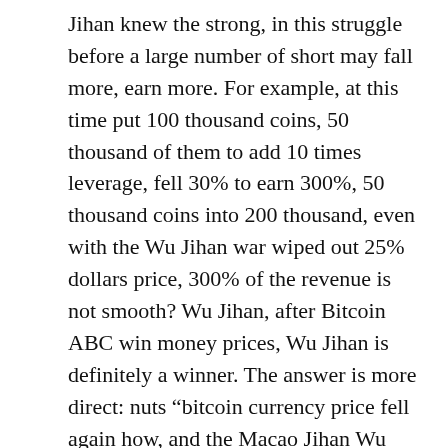Jihan knew the strong, in this struggle before a large number of short may fall more, earn more. For example, at this time put 100 thousand coins, 50 thousand of them to add 10 times leverage, fell 30% to earn 300%, 50 thousand coins into 200 thousand, even with the Wu Jihan war wiped out 25% dollars price, 300% of the revenue is not smooth? Wu Jihan, after Bitcoin ABC win money prices, Wu Jihan is definitely a winner. The answer is more direct: nuts “bitcoin currency price fell again how, and the Macao Jihan Wu Cong lost? Maybe they smashed together the disc. Privately is not drinking, who address each other as brothers, know? The injured or leek”.